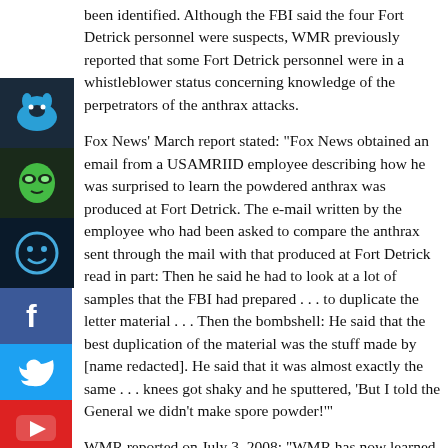been identified. Although the FBI said the four Fort Detrick personnel were suspects, WMR previously reported that some Fort Detrick personnel were in a whistleblower status concerning knowledge of the perpetrators of the anthrax attacks.
Fox News' March report stated: "Fox News obtained an email from a USAMRIID employee describing how he was surprised to learn the powdered anthrax was produced at Fort Detrick. The e-mail written by the employee who had been asked to compare the anthrax sent through the mail with that produced at Fort Detrick read in part: Then he said he had to look at a lot of samples that the FBI had prepared . . . to duplicate the letter material . . . Then the bombshell: He said that the best duplication of the material was the stuff made by [name redacted]. He said that it was almost exactly the same . . . knees got shaky and he sputtered, 'But I told the General we didn't make spore powder!'"
WMR reported on July 3, 2008: "WMR has now learned from an informed source in Frederick, Maryland, the location of Fort Detrick, that the author of the email was in the highest echelons at USAMRIID. Previously, WMR learned from an official of the National Guard Bureau in Provo, Utah that the aerosolized anthrax used in the attacks was originally produced at the US Army's Dugway Proving Ground in Utah, the location of the aerosolized anthrax used in the
[Figure (illustration): Social media sidebar with bison logo (blue), alien face logo (green), smiley face logo (blue), Facebook icon (blue background), Twitter icon (blue background), YouTube icon (red background)]